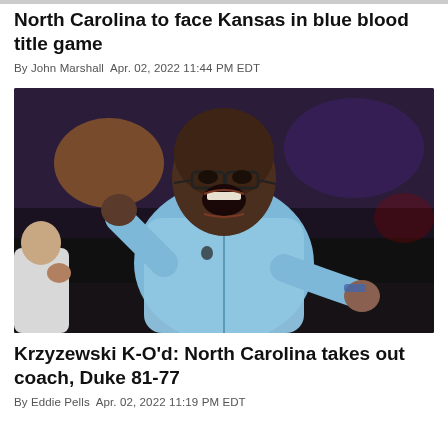North Carolina to face Kansas in blue blood title game
By John Marshall  Apr. 02, 2022 11:44 PM EDT
[Figure (photo): A basketball coach in a light blue UNC jacket celebrating with his fist pumped and mouth open in excitement, photographed at a basketball arena with blurred background lighting.]
Krzyzewski K-O'd: North Carolina takes out coach, Duke 81-77
By Eddie Pells  Apr. 02, 2022 11:19 PM EDT